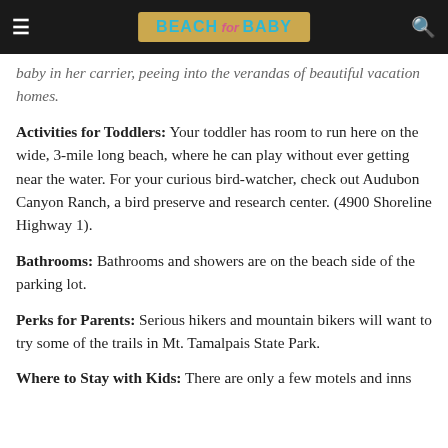BEACH for BABY
baby in her carrier, peeing into the verandas of beautiful vacation homes.
Activities for Toddlers: Your toddler has room to run here on the wide, 3-mile long beach, where he can play without ever getting near the water. For your curious bird-watcher, check out Audubon Canyon Ranch, a bird preserve and research center. (4900 Shoreline Highway 1).
Bathrooms: Bathrooms and showers are on the beach side of the parking lot.
Perks for Parents: Serious hikers and mountain bikers will want to try some of the trails in Mt. Tamalpais State Park.
Where to Stay with Kids: There are only a few motels and inns